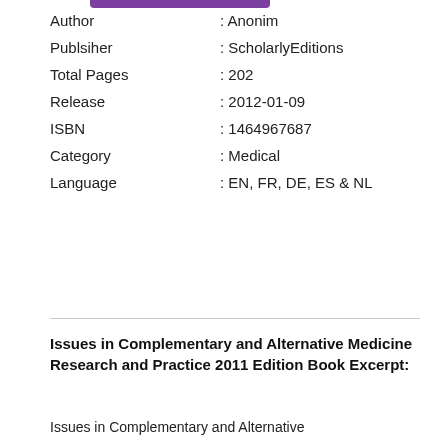| Field | Value |
| --- | --- |
| Author | : Anonim |
| Publsiher | : ScholarlyEditions |
| Total Pages | : 202 |
| Release | : 2012-01-09 |
| ISBN | : 1464967687 |
| Category | : Medical |
| Language | : EN, FR, DE, ES & NL |
[Figure (other): Yellow download button with text DOWNLOAD BOOK and a play icon]
Issues in Complementary and Alternative Medicine Research and Practice 2011 Edition Book Excerpt:
Issues in Complementary and Alternative